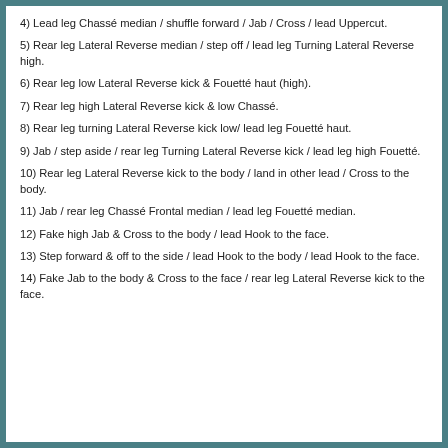4) Lead leg Chassé median / shuffle forward / Jab / Cross / lead Uppercut.
5) Rear leg Lateral Reverse median / step off / lead leg Turning Lateral Reverse high.
6) Rear leg low Lateral Reverse kick & Fouetté haut (high).
7) Rear leg high Lateral Reverse kick & low Chassé.
8) Rear leg turning Lateral Reverse kick low/ lead leg Fouetté haut.
9) Jab / step aside / rear leg Turning Lateral Reverse kick / lead leg high Fouetté.
10) Rear leg Lateral Reverse kick to the body / land in other lead / Cross to the body.
11) Jab / rear leg Chassé Frontal median / lead leg Fouetté median.
12) Fake high Jab & Cross to the body / lead Hook to the face.
13) Step forward & off to the side / lead Hook to the body / lead Hook to the face.
14) Fake Jab to the body & Cross to the face / rear leg Lateral Reverse kick to the face.